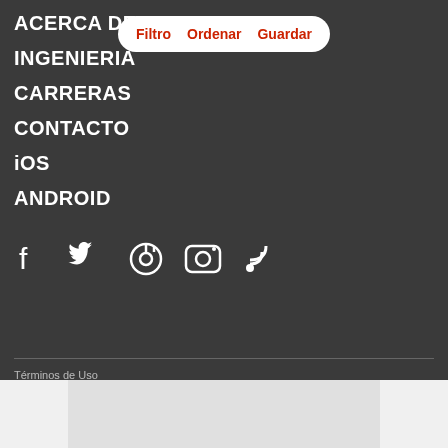ACERCA DE
INGENIERIA
CARRERAS
CONTACTO
iOS
ANDROID
Filtro   Ordenar   Guardar
[Figure (other): Social media icons: Facebook, Twitter, Pinterest, Instagram, RSS]
Términos de Uso
Política de Privacidad
No Venda Mi Información Personal
© 2022 Autolist
Última Actualización – 20 de Agosto, 2022